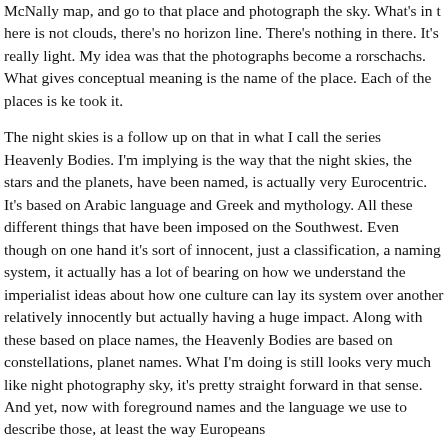McNally map, and go to that place and photograph the sky. What's in there is not clouds, there's no horizon line. There's nothing in there. It's really light. My idea was that the photographs become a rorschachs. What gives conceptual meaning is the name of the place. Each of the places is ke took it.
The night skies is a follow up on that in what I call the series Heavenly B I'm implying is the way that the night skies, the stars and the planets, h named, is actually very Eurocentric. It's based on Arabic language and and mythology. All these different things that have been imposed on t Southwest. Even though on one hand it's sort of innocent, just a classif a naming system, it actually has a lot of bearing on how we understan imperialist ideas about how one culture can lay its system over anoth relatively innocently but actually having a huge impact. Along with the based on place names, the Heavenly Bodies are based on constellat planet names. What I'm doing is still looks very much like night photog sky, it's pretty straight forward in that sense. And yet, now with foregro names and the language we use to describe those, at least the way E